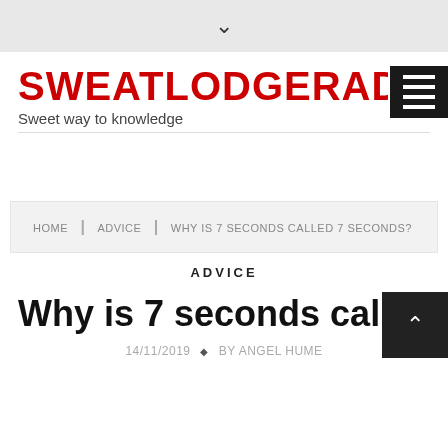▾
SWEATLODGERADIO.C
Sweet way to knowledge
HOME | ADVICE | WHY IS 7 SECONDS CALLED 7 SECONDS?
ADVICE
Why is 7 seconds called 7 Seconds?
14/11/2019 ◆ BY ANGEL HUME